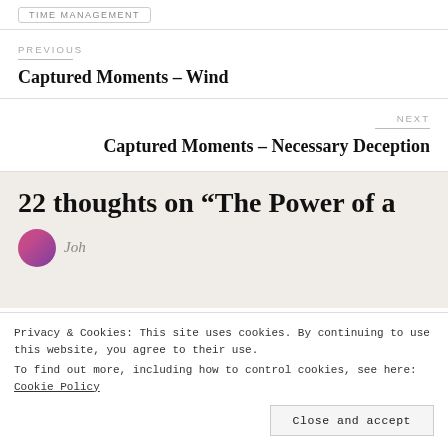TIME MANAGEMENT
PREVIOUS
Captured Moments – Wind
NEXT
Captured Moments – Necessary Deception
22 thoughts on “The Power of a
Privacy & Cookies: This site uses cookies. By continuing to use this website, you agree to their use.
To find out more, including how to control cookies, see here: Cookie Policy
Close and accept